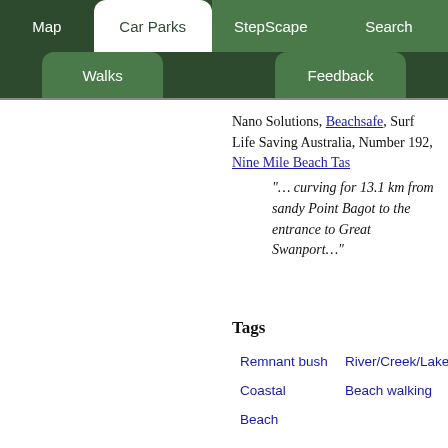Map | Car Parks | StepScape | Search | Walks | Feedback
Nano Solutions, Beachsafe, Surf Life Saving Australia, Number 192, Nine Mile Beach Tas
"… curving for 13.1 km from sandy Point Bagot to the entrance to Great Swanport…"
Tags
Remnant bush
River/Creek/Lake
Coastal
Beach walking
Beach